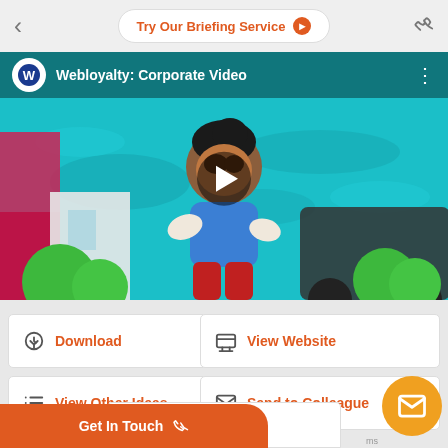Try Our Briefing Service
[Figure (screenshot): Webloyalty Corporate Video thumbnail showing animated character in teal background with play button overlay]
Download
View Website
View Other Ideas
Send to Colleague
Details
Get In Touch